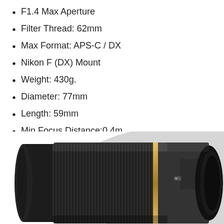F1.4 Max Aperture
Filter Thread: 62mm
Max Format: APS-C / DX
Nikon F (DX) Mount
Weight: 430g.
Diameter: 77mm
Length: 59mm
Min Focus Distance:0.4m
[Figure (photo): Black Sigma 30mm F1.4 camera lens for Nikon F (DX) mount, shown at an angle, featuring ribbed focus ring, gold accent ring, and lens markings on the barrel.]